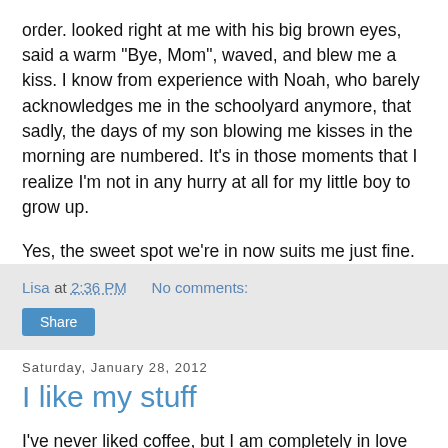order. looked right at me with his big brown eyes, said a warm "Bye, Mom", waved, and blew me a kiss. I know from experience with Noah, who barely acknowledges me in the schoolyard anymore, that sadly, the days of my son blowing me kisses in the morning are numbered. It's in those moments that I realize I'm not in any hurry at all for my little boy to grow up.
Yes, the sweet spot we're in now suits me just fine.
Lisa at 2:36 PM   No comments:
Share
Saturday, January 28, 2012
I like my stuff
I've never liked coffee, but I am completely in love with the Maxwell House television commercial I've been seeing recently.